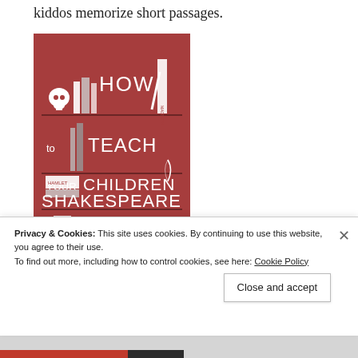kiddos memorize short passages.
[Figure (photo): Book cover of 'How to Teach Your Children Shakespeare' by Ken Ludwig, with introduction by John Lithgow. The cover has a dark red background with illustrated bookshelves and the title text in white hand-lettered style.]
Privacy & Cookies: This site uses cookies. By continuing to use this website, you agree to their use.
To find out more, including how to control cookies, see here: Cookie Policy
Close and accept